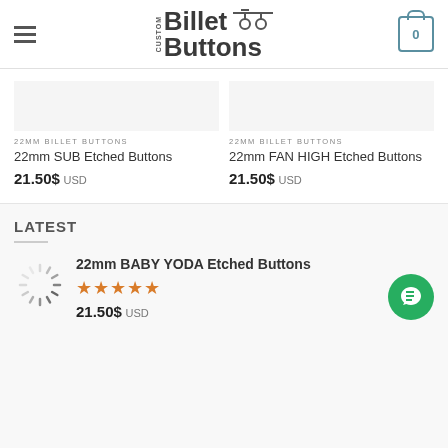Custom Billet Buttons
22MM BILLET BUTTONS
22mm SUB Etched Buttons
21.50$ USD
22MM BILLET BUTTONS
22mm FAN HIGH Etched Buttons
21.50$ USD
LATEST
22mm BABY YODA Etched Buttons
★★★★★
21.50$ USD